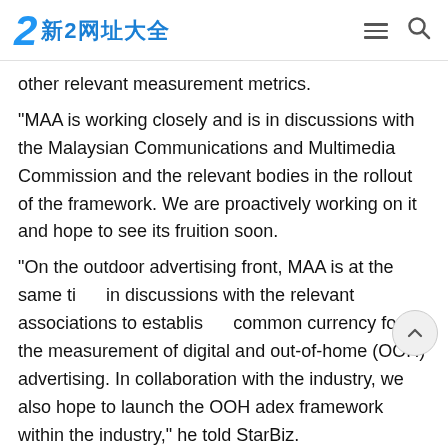新2网址大全
other relevant measurement metrics.
“MAA is working closely and is in discussions with the Malaysian Communications and Multimedia Commission and the relevant bodies in the rollout of the framework. We are proactively working on it and hope to see its fruition soon.
“On the outdoor advertising front, MAA is at the same time in discussions with the relevant associations to establish a common currency for the measurement of digital and out-of-home (OOH) advertising. In collaboration with the industry, we also hope to launch the OOH adex framework within the industry,” he told StarBiz.
Claudian said it is important to have accurate measurement frameworks in the advertising and OOH space, noting that